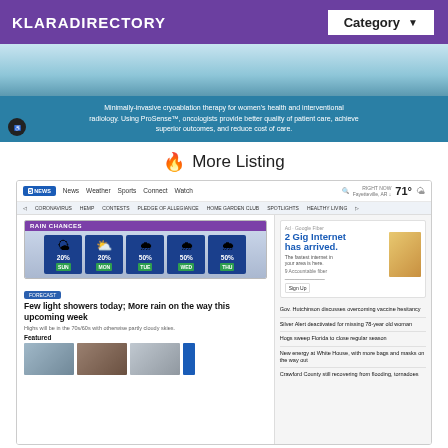KLARADIRECTORY
Category ▼
[Figure (screenshot): Medical/healthcare banner image with teal gradient and text: Minimally-invasive cryoablation therapy for women's health and interventional radiology. Using ProSense™, oncologists provide better quality of patient care, achieve superior outcomes, and reduce cost of care.]
🔥 More Listing
[Figure (screenshot): Screenshot of a local news website (5News) showing a weather widget with rain chances for SUN 20%, MON 20%, TUE 50%, WED 50%, THU 50%, with headline 'Few light showers today; More rain on the way this upcoming week', and sidebar news stories including Gov. Hutchinson discusses overcoming vaccine hesitancy, Silver Alert deactivated for missing 78-year-old woman, Hogs sweep Florida to close regular season, New energy at White House with more bags and masks on the way out, Crawford County still recovering from flooding tornadoes.]